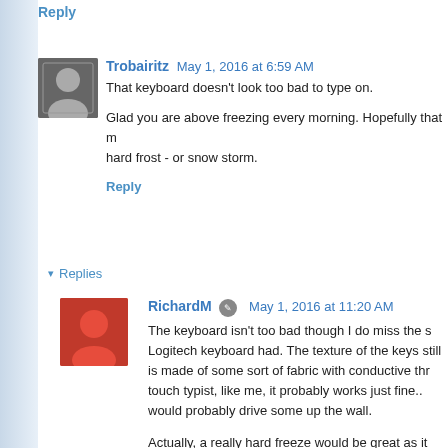Reply
Trobairitz  May 1, 2016 at 6:59 AM
That keyboard doesn't look too bad to type on.

Glad you are above freezing every morning. Hopefully that m... hard frost - or snow storm.

Reply
▾ Replies
RichardM  May 1, 2016 at 11:20 AM
The keyboard isn't too bad though I do miss the s... Logitech keyboard had. The texture of the keys still... is made of some sort of fabric with conductive thr... touch typist, like me, it probably works just fine... would probably drive some up the wall.

Actually, a really hard freeze would be great as it... mosquitoes. That would be a good thing.